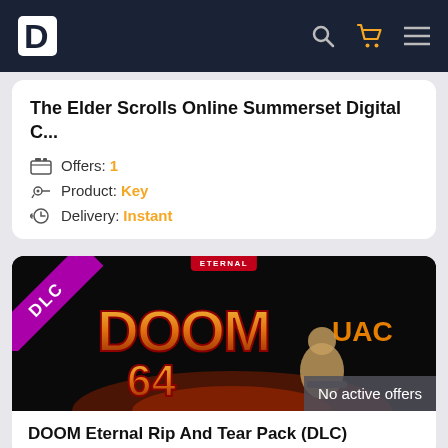RD [logo navbar]
The Elder Scrolls Online Summerset Digital C...
Offers: 1
Product: Key
Delivery: Instant
[Figure (screenshot): DOOM Eternal Rip And Tear Pack DLC product image showing DOOM 64 logo with game character and UAC logo on dark background. Has DLC badge ribbon in top-left and ETERNAL badge at top center. Overlay reads: No active offers]
DOOM Eternal Rip And Tear Pack (DLC)